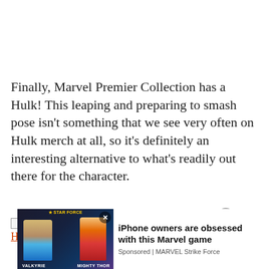Finally, Marvel Premier Collection has a Hulk! This leaping and preparing to smash pose isn't something that we see very often on Hulk merch at all, so it's definitely an interesting alternative to what's readily out there for the character.
[Figure (other): Broken image icon followed by hyperlink text: Diamond Select Toys Marvel Premier Collection Hulk Statue]
[Figure (other): Advertisement banner: iPhone owners are obsessed with this Marvel game. Sponsored by MARVEL Strike Force. Features Marvel characters Valkyrie and Mighty Thor on dark background.]